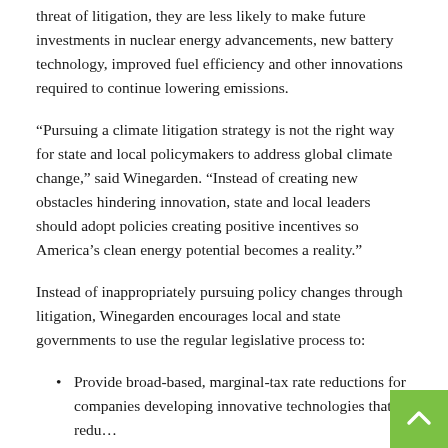threat of litigation, they are less likely to make future investments in nuclear energy advancements, new battery technology, improved fuel efficiency and other innovations required to continue lowering emissions.
“Pursuing a climate litigation strategy is not the right way for state and local policymakers to address global climate change,” said Winegarden. “Instead of creating new obstacles hindering innovation, state and local leaders should adopt policies creating positive incentives so America’s clean energy potential becomes a reality.”
Instead of inappropriately pursuing policy changes through litigation, Winegarden encourages local and state governments to use the regular legislative process to:
Provide broad-based, marginal-tax rate reductions for companies developing innovative technologies that redu…